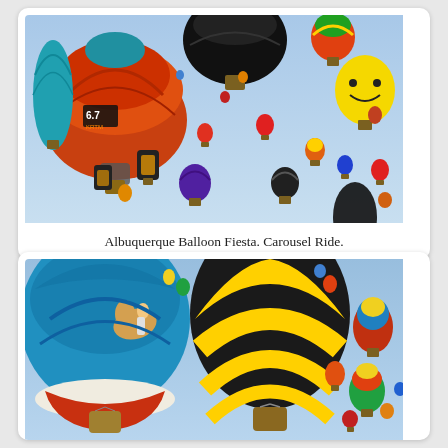[Figure (photo): Many colorful hot air balloons floating in a blue sky at the Albuquerque Balloon Fiesta. A large red and teal balloon is prominent in the foreground left, with a large dark top balloon in the center top, and many other balloons of various colors scattered across the sky.]
Albuquerque Balloon Fiesta. Carousel Ride.
[Figure (photo): Close-up of two large hot air balloons at the Albuquerque Balloon Fiesta. The left balloon is light blue with carousel horse artwork painted on it. The right balloon has bold yellow and black vertical stripes. Many other colorful balloons are visible in the background sky.]